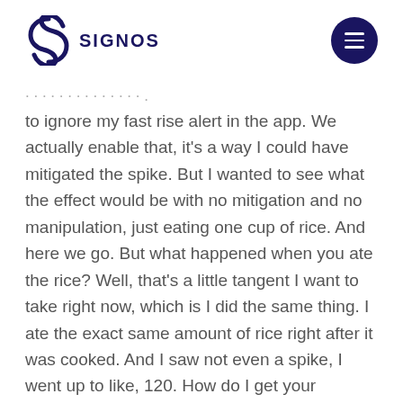SIGNOS
to ignore my fast rise alert in the app. We actually enable that, it’s a way I could have mitigated the spike. But I wanted to see what the effect would be with no mitigation and no manipulation, just eating one cup of rice. And here we go. But what happened when you ate the rice? Well, that’s a little tangent I want to take right now, which is I did the same thing. I ate the exact same amount of rice right after it was cooked. And I saw not even a spike, I went up to like, 120. How do I get your